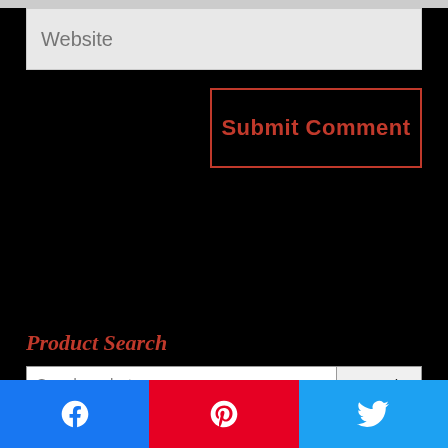Website
Submit Comment
Product Search
Search products...
Join the Dog Pound
[Figure (other): Social share buttons: Facebook, Pinterest, Twitter]